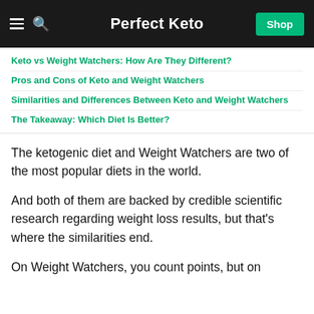Perfect Keto
Keto vs Weight Watchers: How Are They Different?
Pros and Cons of Keto and Weight Watchers
Similarities and Differences Between Keto and Weight Watchers
The Takeaway: Which Diet Is Better?
The ketogenic diet and Weight Watchers are two of the most popular diets in the world.
And both of them are backed by credible scientific research regarding weight loss results, but that’s where the similarities end.
On Weight Watchers, you count points, but on